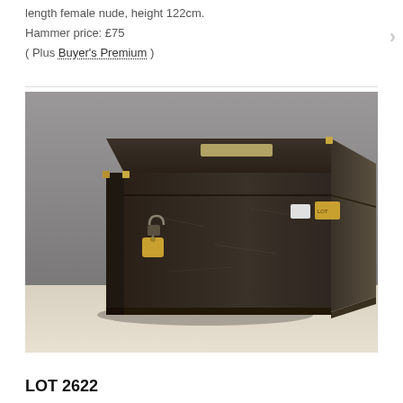length female nude, height 122cm.
Hammer price: £75
( Plus Buyer's Premium )
[Figure (photo): A dark metal/wooden box with brass corners and a padlock on the front, with small label tags on the right side. The box has a hinged lid. Photographed on a light background.]
LOT 2622